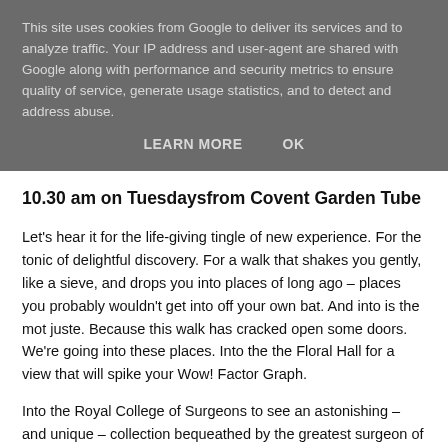This site uses cookies from Google to deliver its services and to analyze traffic. Your IP address and user-agent are shared with Google along with performance and security metrics to ensure quality of service, generate usage statistics, and to detect and address abuse.
LEARN MORE    OK
10.30 am on Tuesdaysfrom Covent Garden Tube
Let's hear it for the life-giving tingle of new experience. For the tonic of delightful discovery. For a walk that shakes you gently, like a sieve, and drops you into places of long ago – places you probably wouldn't get into off your own bat. And into is the mot juste. Because this walk has cracked open some doors. We're going into these places. Into the the Floral Hall for a view that will spike your Wow! Factor Graph.
Into the Royal College of Surgeons to see an astonishing – and unique – collection bequeathed by the greatest surgeon of them all. Into the venerable – and passing strange – RAF chapel. Two curiosity-driven visits into the Royal Court of...